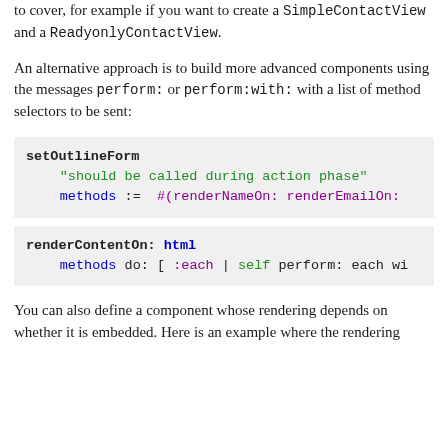to cover, for example if you want to create a SimpleContactView and a ReadyonlyContactView.
An alternative approach is to build more advanced components using the messages perform: or perform:with: with a list of method selectors to be sent:
[Figure (screenshot): Code block showing setOutlineForm method with string comment 'should be called during action phase' and methods := #(renderNameOn: renderEmailOn:]
[Figure (screenshot): Code block showing renderContentOn: html methods do: [ :each | self perform: each wi]
You can also define a component whose rendering depends on whether it is embedded. Here is an example where the rendering